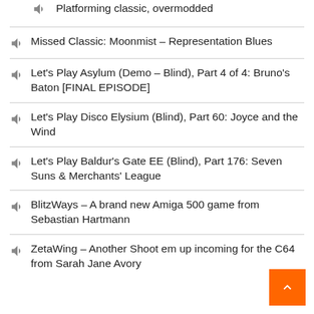Platforming classic, overmodded
Missed Classic: Moonmist – Representation Blues
Let's Play Asylum (Demo – Blind), Part 4 of 4: Bruno's Baton [FINAL EPISODE]
Let's Play Disco Elysium (Blind), Part 60: Joyce and the Wind
Let's Play Baldur's Gate EE (Blind), Part 176: Seven Suns & Merchants' League
BlitzWays – A brand new Amiga 500 game from Sebastian Hartmann
ZetaWing – Another Shoot em up incoming for the C64 from Sarah Jane Avory